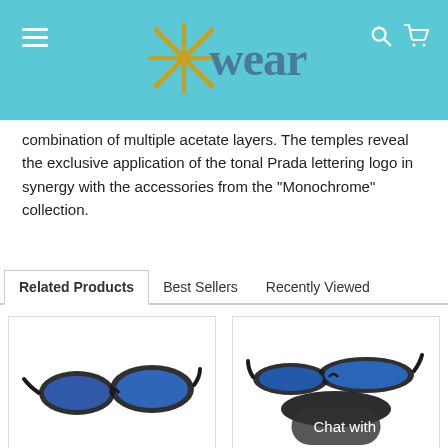Xwear
combination of multiple acetate layers. The temples reveal the exclusive application of the tonal Prada lettering logo in synergy with the accessories from the "Monochrome" collection.
Related Products | Best Sellers | Recently Viewed
[Figure (photo): Sunglasses with black frame and blue mirrored lenses, product card left]
[Figure (photo): Sunglasses with black frame and blue mirrored lenses with case, product card right, with Chat with us button overlay]